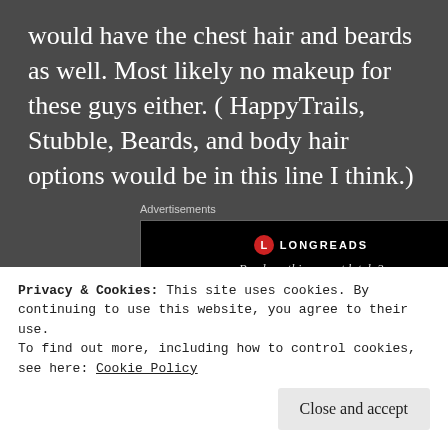would have the chest hair and beards as well. Most likely no makeup for these guys either. ( HappyTrails, Stubble, Beards, and body hair options would be in this line I think.)
Advertisements
[Figure (screenshot): Longreads advertisement banner — black background with Longreads logo and tagline 'Read anything great lately?']
REPORT THIS AD
for these it is. These are for a line of Pl... and
Privacy & Cookies: This site uses cookies. By continuing to use this website, you agree to their use.
To find out more, including how to control cookies, see here: Cookie Policy